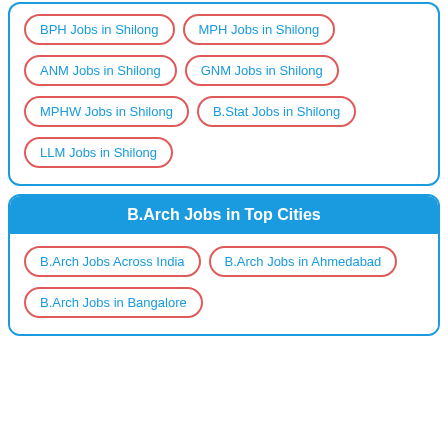BPH Jobs in Shilong
MPH Jobs in Shilong
ANM Jobs in Shilong
GNM Jobs in Shilong
MPHW Jobs in Shilong
B.Stat Jobs in Shilong
LLM Jobs in Shilong
B.Arch Jobs in Top Cities
B.Arch Jobs Across India
B.Arch Jobs in Ahmedabad
B.Arch Jobs in Bangalore